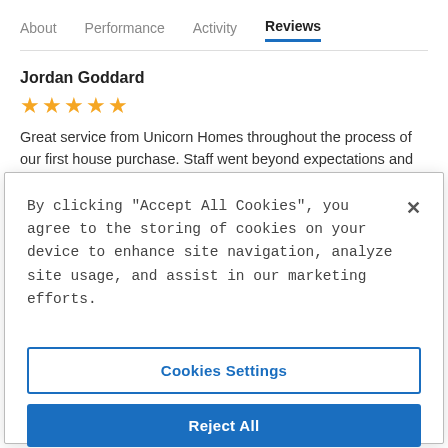About  Performance  Activity  Reviews
Jordan Goddard
★★★★★
Great service from Unicorn Homes throughout the process of our first house purchase. Staff went beyond expectations and
By clicking “Accept All Cookies”, you agree to the storing of cookies on your device to enhance site navigation, analyze site usage, and assist in our marketing efforts.
Cookies Settings
Reject All
Accept All Cookies